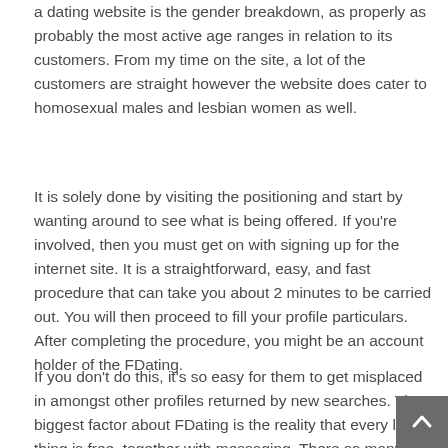a dating website is the gender breakdown, as properly as probably the most active age ranges in relation to its customers. From my time on the site, a lot of the customers are straight however the website does cater to homosexual males and lesbian women as well.
It is solely done by visiting the positioning and start by wanting around to see what is being offered. If you're involved, then you must get on with signing up for the internet site. It is a straightforward, easy, and fast procedure that can take you about 2 minutes to be carried out. You will then proceed to fill your profile particulars. After completing the procedure, you might be an account holder of the FDating.
If you don't do this, it's so easy for them to get misplaced in amongst other profiles returned by new searches. The biggest factor about FDating is the reality that every little thing is free, together with messaging. There so many further parameters you could choose, however only if you would like to, in fact. That begins with looking out and then strikes onto